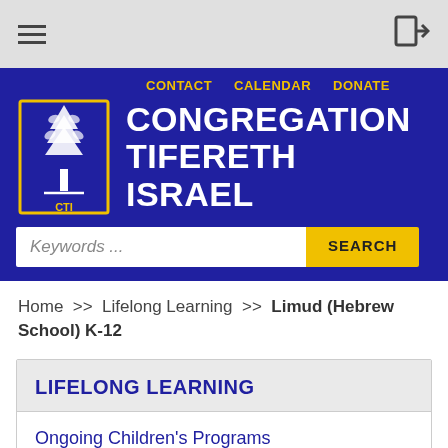[Figure (screenshot): Top navigation bar with hamburger menu icon on left and login arrow icon on right, gray background]
[Figure (logo): Congregation Tifereth Israel website header banner with dark blue background, CTI tree logo, navigation links (CONTACT, CALENDAR, DONATE) in gold, congregation name in white bold text, and a keyword search bar with yellow SEARCH button]
Home >> Lifelong Learning >> Limud (Hebrew School) K-12
LIFELONG LEARNING
Ongoing Children's Programs
Adult Learning Programs